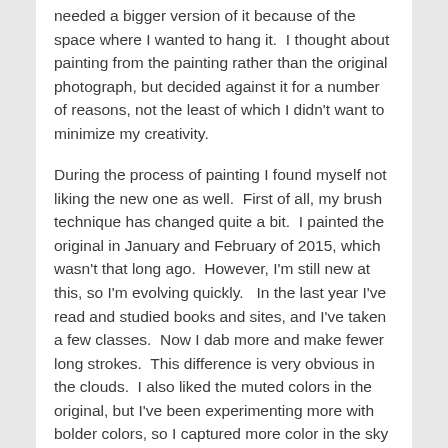needed a bigger version of it because of the space where I wanted to hang it.  I thought about painting from the painting rather than the original photograph, but decided against it for a number of reasons, not the least of which I didn't want to minimize my creativity.
During the process of painting I found myself not liking the new one as well.  First of all, my brush technique has changed quite a bit.  I painted the original in January and February of 2015, which wasn't that long ago.  However, I'm still new at this, so I'm evolving quickly.   In the last year I've read and studied books and sites, and I've taken a few classes.  Now I dab more and make fewer long strokes.  This difference is very obvious in the clouds.  I also liked the muted colors in the original, but I've been experimenting more with bolder colors, so I captured more color in the sky and the trees in the foreground.  When I finished it on Tuesday (my birthday) I decided I liked it better.  The additional color gives it an added richness.  I still like them both a lot – mostly because it's a very pretty scene and a nice photograph.  I was lucky to be there on the day I took it.